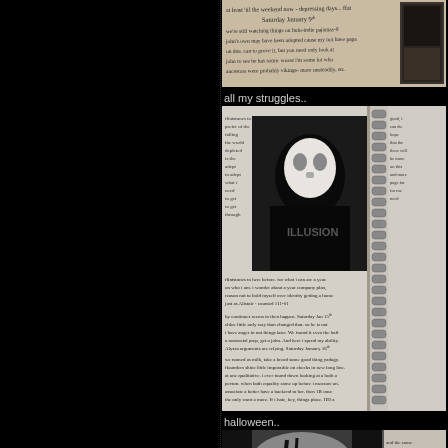[Figure (photo): Handwritten journal/diary page with cursive text, dated Saturday January 9th, showing personal reflections. Small dark photograph visible at right edge.]
all my struggles..
[Figure (photo): Spiral-bound notebook open to a page with a black and white photo of a person wearing a mask (V for Vendetta style white mask) and dark hoodie. Surrounding pages filled with handwritten cursive text.]
halloween..
[Figure (photo): Black and white photo of a person with dramatic face paint or costume makeup, gothic/Halloween style appearance.]